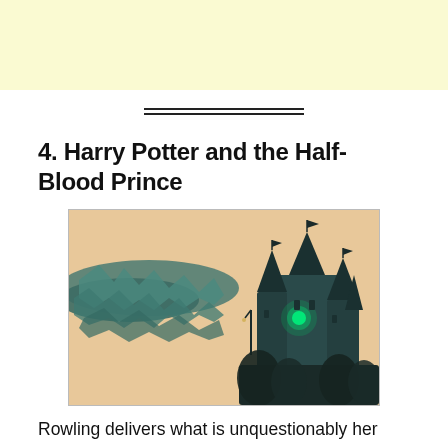4. Harry Potter and the Half-Blood Prince
[Figure (illustration): Stylized illustration of a dark castle with pointed towers and a glowing green light, set against a peach/sandy sky with teal-green smoke or clouds swirling around it.]
Rowling delivers what is unquestionably her darkest work, killing off one of the most beloved characters in the series. The